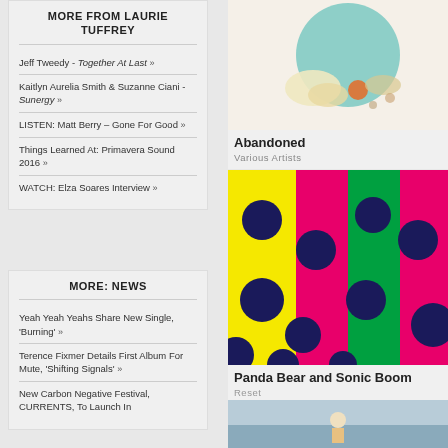MORE FROM LAURIE TUFFREY
Jeff Tweedy - Together At Last »
Kaitlyn Aurelia Smith & Suzanne Ciani - Sunergy »
LISTEN: Matt Berry – Gone For Good »
Things Learned At: Primavera Sound 2016 »
WATCH: Elza Soares Interview »
MORE: NEWS
Yeah Yeah Yeahs Share New Single, 'Burning' »
Terence Fixmer Details First Album For Mute, 'Shifting Signals' »
New Carbon Negative Festival, CURRENTS, To Launch In
[Figure (illustration): Album cover art for Abandoned by Various Artists - light blue/teal circular design with illustrated figures on cream background]
Abandoned
Various Artists
[Figure (photo): Album cover art for Panda Bear and Sonic Boom Reset - colorful yellow, pink and green panels with large dark navy polka dots]
Panda Bear and Sonic Boom
Reset
[Figure (photo): Partial view of another album cover - blue sky/sea background]